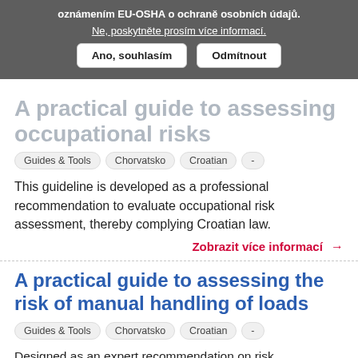oznámením EU-OSHA o ochraně osobních údajů.
Ne, poskytněte prosím více informací.
Ano, souhlasím
Odmítnout
A practical guide to assessing occupational risks
Guides & Tools
Chorvatsko
Croatian
-
This guideline is developed as a professional recommendation to evaluate occupational risk assessment, thereby complying Croatian law.
Zobrazit více informací →
A practical guide to assessing the risk of manual handling of loads
Guides & Tools
Chorvatsko
Croatian
-
Designed as an expert recommendation on risk management in workplaces where manual